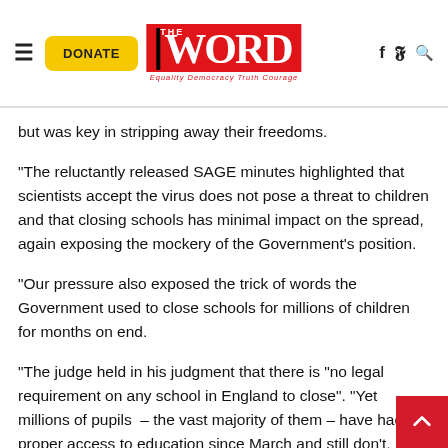THE WORD – Equality Democracy Truth Courage
but was key in stripping away their freedoms.
“The reluctantly released SAGE minutes highlighted that scientists accept the virus does not pose a threat to children and that closing schools has minimal impact on the spread, again exposing the mockery of the Government’s position.
“Our pressure also exposed the trick of words the Government used to close schools for millions of children for months on end.
“The judge held in his judgment that there is “no legal requirement on any school in England to close”. “Yet millions of pupils – the vast majority of them – have had no proper access to education since March and still don’t. The Court has refused to let our challenge to this sorry state of